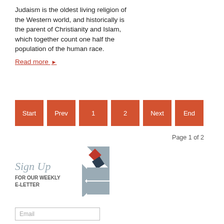Judaism is the oldest living religion of the Western world, and historically is the parent of Christianity and Islam, which together count one half the population of the human race. Read more ▶
Start
Prev
1
2
Next
End
Page 1 of 2
[Figure (logo): Sign Up for our Weekly E-Letter promotional graphic with geometric arrow shapes in grey and red]
Email